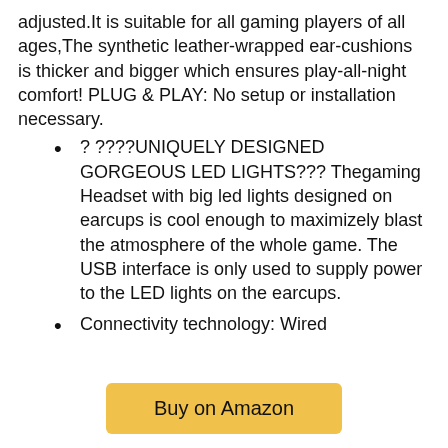adjusted.It is suitable for all gaming players of all ages,The synthetic leather-wrapped ear-cushions is thicker and bigger which ensures play-all-night comfort! PLUG & PLAY: No setup or installation necessary.
? ????UNIQUELY DESIGNED GORGEOUS LED LIGHTS??? Thegaming Headset with big led lights designed on earcups is cool enough to maximizely blast the atmosphere of the whole game. The USB interface is only used to supply power to the LED lights on the earcups.
Connectivity technology: Wired
Buy on Amazon